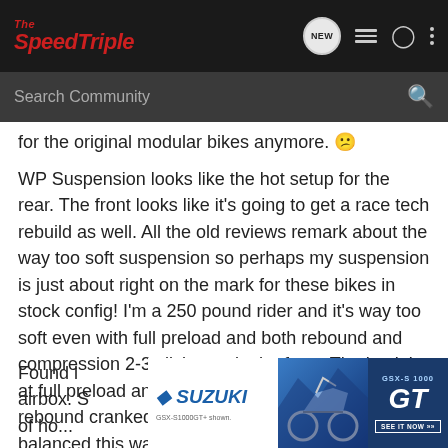The SpeedTriple
Search Community
for the original modular bikes anymore. 😕
WP Suspension looks like the hot setup for the rear. The front looks like it's going to get a race tech rebuild as well. All the old reviews remark about the way too soft suspension so perhaps my suspension is just about right on the mark for these bikes in stock config! I'm a 250 pound rider and it's way too soft even with full preload and both rebound and compression 2-3 clicks out in the front. The back is at full preload and still sags 2 inches with full rebound cranked in as well. The suspension is balanced this way and the bike handles OK but would be much more confident with stiffer components.
Found l... airbox. S... st lots of ho...
[Figure (screenshot): Suzuki GSX-S1000GT advertisement banner with motorcycle image and 'SEE IT NOW' call to action]